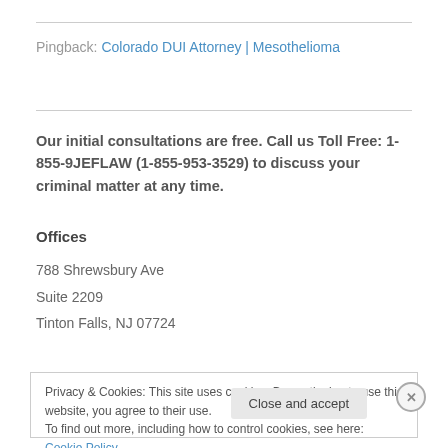Pingback: Colorado DUI Attorney | Mesothelioma
Our initial consultations are free. Call us Toll Free: 1-855-9JEFLAW (1-855-953-3529) to discuss your criminal matter at any time.
Offices
788 Shrewsbury Ave
Suite 2209
Tinton Falls, NJ 07724
Privacy & Cookies: This site uses cookies. By continuing to use this website, you agree to their use. To find out more, including how to control cookies, see here: Cookie Policy